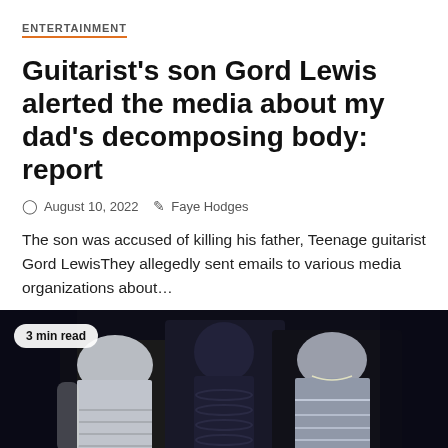ENTERTAINMENT
Guitarist’s son Gord Lewis alerted the media about my dad’s decomposing body: report
August 10, 2022   Faye Hodges
The son was accused of killing his father, Teenage guitarist Gord LewisThey allegedly sent emails to various media organizations about…
[Figure (photo): Three women posing in metallic outfits at an event. Left woman wears a silver metallic mini dress and jacket, center woman wears a dark navy fitted bodysuit, right woman wears a silver strapless mini dress. Badge overlay reads '3 min read'.]